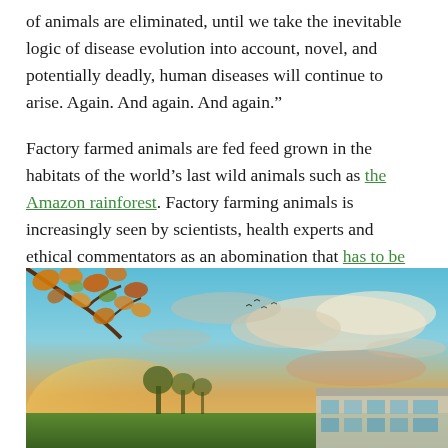of animals are eliminated, until we take the inevitable logic of disease evolution into account, novel, and potentially deadly, human diseases will continue to arise. Again. And again. And again.”
Factory farmed animals are fed feed grown in the habitats of the world’s last wild animals such as the Amazon rainforest. Factory farming animals is increasingly seen by scientists, health experts and ethical commentators as an abomination that has to be stopped.
[Figure (photo): Outdoor scenic photo showing autumn tree branches with golden/orange leaves in upper left, a wide sky with dramatic clouds lit by warm golden light, green fields and trees in the background, and the corner of a modern building with glass windows visible at the lower right. Warm golden-hour lighting overall.]